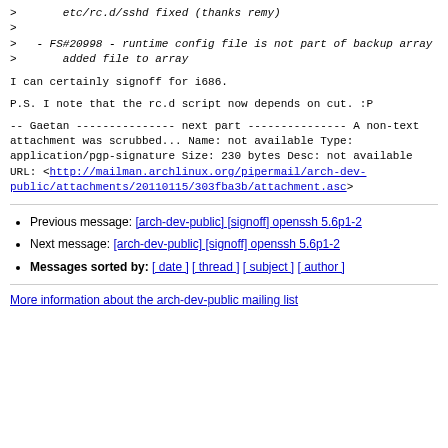>       etc/rc.d/sshd fixed (thanks remy)
>
>   - FS#20998 - runtime config file is not part of backup array
>       added file to array
I can certainly signoff for i686.
P.S. I note that the rc.d script now depends on cut. :P
--
Gaetan
--------------- next part ---------------
A non-text attachment was scrubbed...
Name: not available
Type: application/pgp-signature
Size: 230 bytes
Desc: not available
URL: <http://mailman.archlinux.org/pipermail/arch-dev-public/attachments/20110115/303fba3b/attachment.asc>
Previous message: [arch-dev-public] [signoff] openssh 5.6p1-2
Next message: [arch-dev-public] [signoff] openssh 5.6p1-2
Messages sorted by: [ date ] [ thread ] [ subject ] [ author ]
More information about the arch-dev-public mailing list